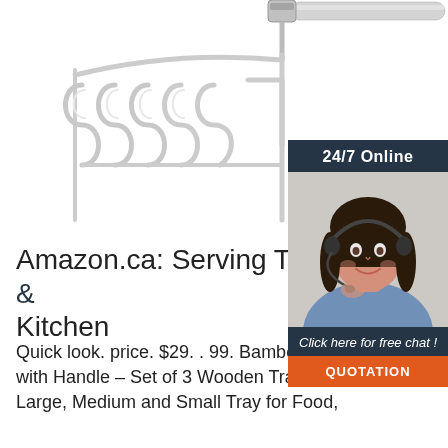[Figure (photo): A stainless steel potato masher/whisk kitchen tool with a coiled wire head and a long metal handle, photographed on white background]
[Figure (infographic): Customer service chat widget with dark navy background showing '24/7 Online' header, photo of a smiling woman with headset, 'Click here for free chat!' text, and an orange 'QUOTATION' button]
Amazon.ca: Serving Trays: Home & Kitchen
[Figure (logo): POP logo - orange dots arranged in a triangle above 'POP' text in orange]
Quick look. price. $29. . 99. Bamboo Serving Trays with Handle – Set of 3 Wooden Trays That Nest – Large, Medium and Small Tray for Food,